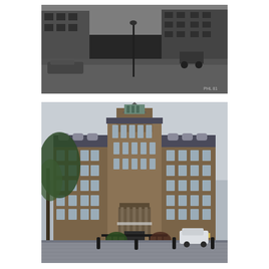[Figure (photo): Black and white historical photograph of a street scene with buildings, a lamppost, and a road. Small text 'PHL 81' visible in lower right corner.]
[Figure (photo): Color photograph of a large early 20th century brick building with a central tower topped by a cupola, multiple floors with arched windows, and an ornate entrance. Trees visible on the left, a white car and decorative bollards in the foreground, wet paving stones indicating rain.]